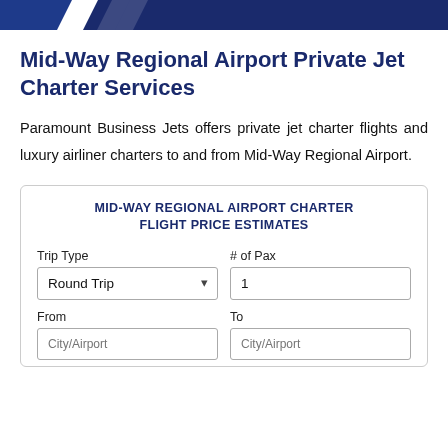Mid-Way Regional Airport Private Jet Charter Services
Paramount Business Jets offers private jet charter flights and luxury airliner charters to and from Mid-Way Regional Airport.
MID-WAY REGIONAL AIRPORT CHARTER FLIGHT PRICE ESTIMATES
Trip Type | # of Pax | Round Trip (dropdown) | 1 (input) | From | To | City/Airport (input) | City/Airport (input)